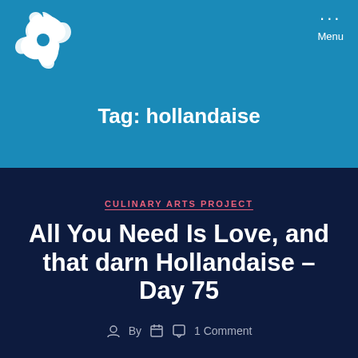[Figure (logo): White record adapter/45 RPM insert logo on blue background]
Menu
Tag: hollandaise
CULINARY ARTS PROJECT
All You Need Is Love, and that darn Hollandaise – Day 75
By   1 Comment